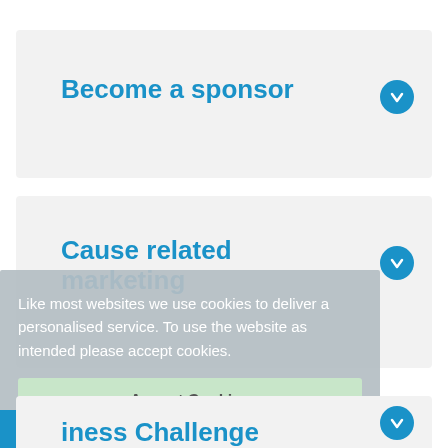Become a sponsor
Cause related marketing
Like most websites we use cookies to deliver a personalised service. To use the website as intended please accept cookies.
Accept Cookies
English
iness Challenge